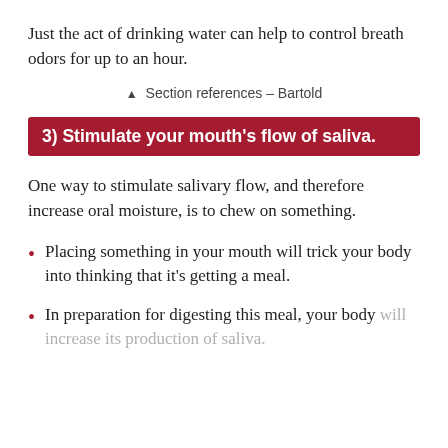Just the act of drinking water can help to control breath odors for up to an hour.
▲ Section references – Bartold
3) Stimulate your mouth's flow of saliva.
One way to stimulate salivary flow, and therefore increase oral moisture, is to chew on something.
Placing something in your mouth will trick your body into thinking that it's getting a meal.
In preparation for digesting this meal, your body will increase its production of saliva.